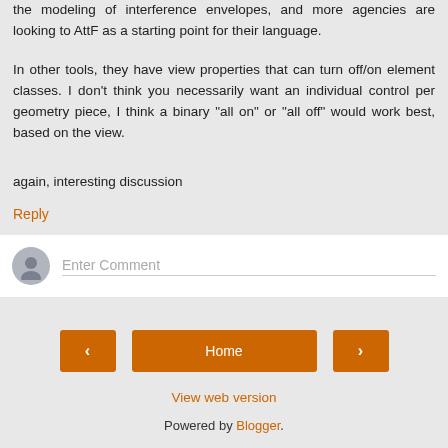the modeling of interference envelopes, and more agencies are looking to AttF as a starting point for their language.
In other tools, they have view properties that can turn off/on element classes. I don't think you necessarily want an individual control per geometry piece, I think a binary "all on" or "all off" would work best, based on the view.
again, interesting discussion
Reply
[Figure (other): Comment input box with user avatar placeholder and 'Enter Comment' placeholder text]
Home (navigation buttons with left arrow, Home, right arrow)
View web version
Powered by Blogger.